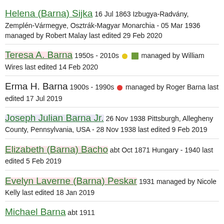Helena (Barna) Sijka 16 Jul 1863 Izbugya-Radvány, Zemplén-Vármegye, Osztrák-Magyar Monarchia - 05 Mar 1936 managed by Robert Malay last edited 29 Feb 2020
Teresa A. Barna 1950s - 2010s managed by William Wires last edited 14 Feb 2020
Erma H. Barna 1900s - 1990s managed by Roger Barna last edited 17 Jul 2019
Joseph Julian Barna Jr. 26 Nov 1938 Pittsburgh, Allegheny County, Pennsylvania, USA - 28 Nov 1938 last edited 9 Feb 2019
Elizabeth (Barna) Bacho abt Oct 1871 Hungary - 1940 last edited 5 Feb 2019
Evelyn Laverne (Barna) Peskar 1931 managed by Nicole Kelly last edited 18 Jan 2019
Michael Barna abt 1911